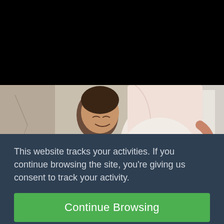[Figure (photo): A pregnant woman in a light pink top holding her lower back, with a small child hugging her belly, photographed from the side in a home setting. Upper portion of the image is obscured by a black overlay.]
This website tracks your activities. If you continue browsing the site, you're giving us consent to track your activity.
Continue Browsing